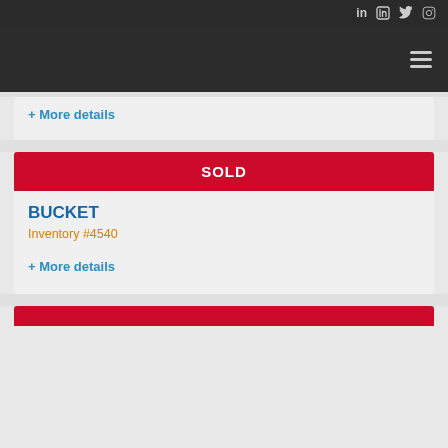Social media icons: LinkedIn, Facebook, Twitter, Instagram
[Figure (screenshot): Dark navigation header bar with hamburger menu icon on the right]
+ More details
SOLD
BUCKET
Inventory #4540
+ More details
[Figure (other): Bottom partial card with red sold banner just visible at bottom of page]